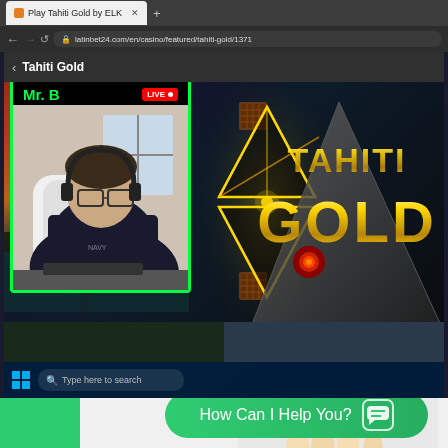[Figure (screenshot): Browser screenshot showing a gambling/casino website latinbet24.com with the Tahiti Gold slot game. A webcam overlay shows a streamer labeled 'Mr. B' with a LIVE indicator. The center shows an 'EYE OF TIKI' graphic with triangle/diamond shapes and golden light beams. The right side shows the 'TAHITI GOLD' game logo. At the bottom is a Windows taskbar and a green chat bubble saying 'How Can I Help You?' with a chat icon.]